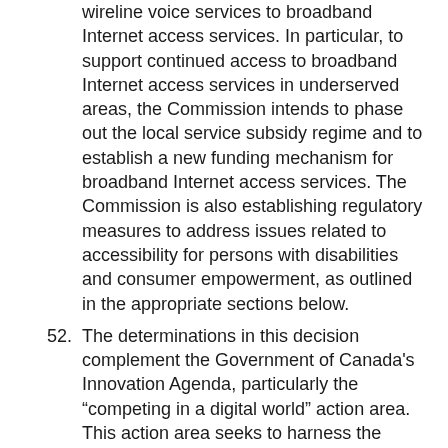wireline voice services to broadband Internet access services. In particular, to support continued access to broadband Internet access services in underserved areas, the Commission intends to phase out the local service subsidy regime and to establish a new funding mechanism for broadband Internet access services. The Commission is also establishing regulatory measures to address issues related to accessibility for persons with disabilities and consumer empowerment, as outlined in the appropriate sections below.
52. The determinations in this decision complement the Government of Canada's Innovation Agenda, particularly the “competing in a digital world” action area. This action area seeks to harness the digital economy across sectors to encourage digital adoption and strengthen competitiveness, both of which require appropriate digital infrastructure availability, affordable access, and stronger digital skills among Canadians.